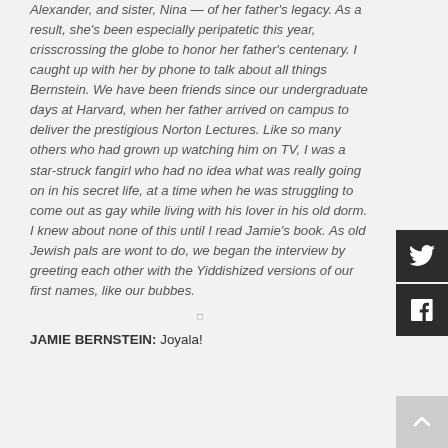Alexander, and sister, Nina — of her father's legacy. As a result, she's been especially peripatetic this year, crisscrossing the globe to honor her father's centenary. I caught up with her by phone to talk about all things Bernstein. We have been friends since our undergraduate days at Harvard, when her father arrived on campus to deliver the prestigious Norton Lectures. Like so many others who had grown up watching him on TV, I was a star-struck fangirl who had no idea what was really going on in his secret life, at a time when he was struggling to come out as gay while living with his lover in his old dorm. I knew about none of this until I read Jamie's book. As old Jewish pals are wont to do, we began the interview by greeting each other with the Yiddishized versions of our first names, like our bubbes.
JAMIE BERNSTEIN: Joyala!